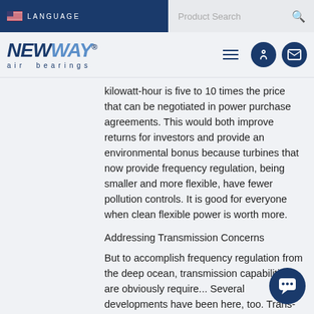LANGUAGE | Product Search
[Figure (logo): New Way air bearings logo with navy blue italic text and registered trademark symbol]
kilowatt-hour is five to 10 times the price that can be negotiated in power purchase agreements. This would both improve returns for investors and provide an environmental bonus because turbines that now provide frequency regulation, being smaller and more flexible, have fewer pollution controls. It is good for everyone when clean flexible power is worth more.
Addressing Transmission Concerns
But to accomplish frequency regulation from the deep ocean, transmission capabilities are obviously require... Several developments have been here, too. Trans-Elect Development Co.